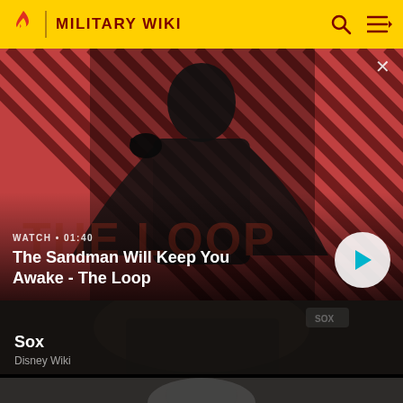MILITARY WIKI
[Figure (screenshot): Video thumbnail for 'The Sandman Will Keep You Awake - The Loop' with a man in black cloak with a raven on his shoulder against diagonal red and black striped background. Shows WATCH • 01:40 label and a play button.]
WATCH • 01:40
The Sandman Will Keep You Awake - The Loop
[Figure (photo): Dark toned image card for 'Sox' from Disney Wiki showing partial view of a character.]
Sox
Disney Wiki
[Figure (photo): Partial image of a person at the bottom of the page, partially cut off.]